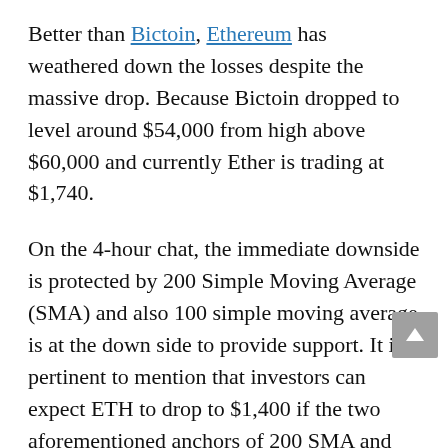Better than Bictoin, Ethereum has weathered down the losses despite the massive drop. Because Bictoin dropped to level around $54,000 from high above $60,000 and currently Ether is trading at $1,740.
On the 4-hour chat, the immediate downside is protected by 200 Simple Moving Average (SMA) and also 100 simple moving average is at the down side to provide support. It is pertinent to mention that investors can expect ETH to drop to $1,400 if the two aforementioned anchors of 200 SMA and 100 SMA fails to hold.
When the downtrend is negative gradient, the